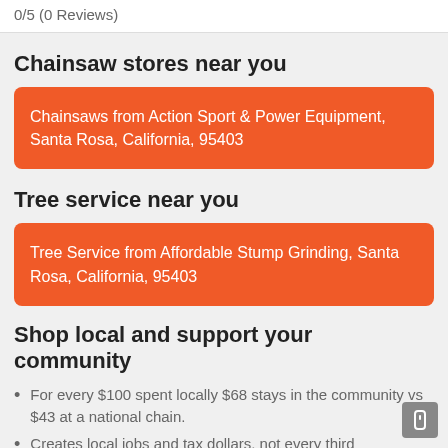0/5 (0 Reviews)
Chainsaw stores near you
Chainsaws from Action Sport & Power Equipment, Santa Rosa, California, 95403
Tree service near you
Tree Service from Affordable Stump Grinding, Santa Rosa, California, 95403
Shop local and support your community
For every $100 spent locally $68 stays in the community vs $43 at a national chain.
Creates local jobs and tax dollars, not every third